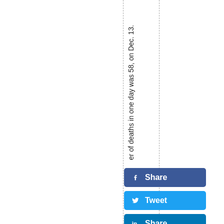er of deaths in one day was 58, on Dec. 13.
[Figure (other): Facebook Share button, Twitter Tweet button, LinkedIn Share button - social media sharing buttons]
[Figure (other): Dashed vertical guide lines on page]